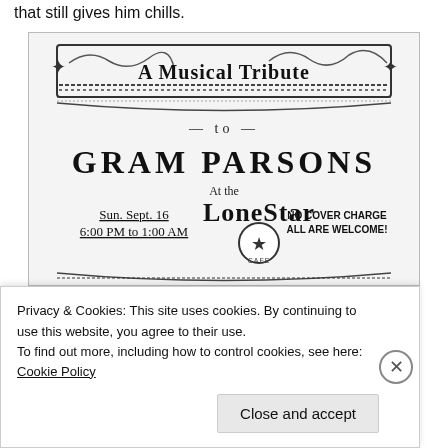that still gives him chills.
[Figure (illustration): A vintage concert flyer for 'A Musical Tribute to Gram Parsons' at the Lone Star Cafe. Sun. Sept. 16, 6:00 PM to 1:00 AM. No cover charge, all are welcome. Decorated with rope border and star illustrations.]
Privacy & Cookies: This site uses cookies. By continuing to use this website, you agree to their use.
To find out more, including how to control cookies, see here: Cookie Policy
Close and accept